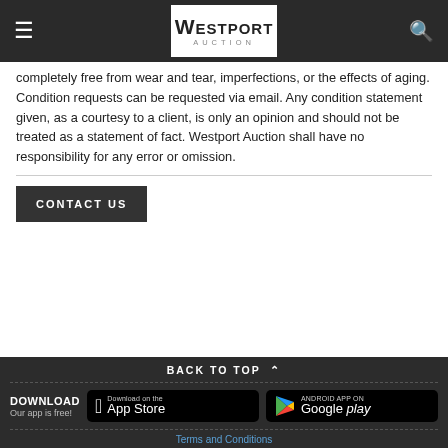Westport Auction — navigation bar with hamburger menu, logo, and search icon
completely free from wear and tear, imperfections, or the effects of aging. Condition requests can be requested via email. Any condition statement given, as a courtesy to a client, is only an opinion and should not be treated as a statement of fact. Westport Auction shall have no responsibility for any error or omission.
CONTACT US
BACK TO TOP
DOWNLOAD Our app is free!
[Figure (logo): Download on the App Store button]
[Figure (logo): Android App on Google play button]
Terms and Conditions